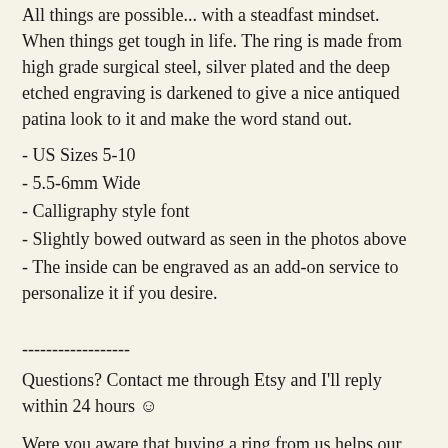All things are possible... with a steadfast mindset. When things get tough in life. The ring is made from high grade surgical steel, silver plated and the deep etched engraving is darkened to give a nice antiqued patina look to it and make the word stand out.
- US Sizes 5-10
- 5.5-6mm Wide
- Calligraphy style font
- Slightly bowed outward as seen in the photos above
- The inside can be engraved as an add-on service to personalize it if you desire.
------------------
Questions? Contact me through Etsy and I'll reply within 24 hours ☺
Were you aware that buying a ring from us helps our disabled